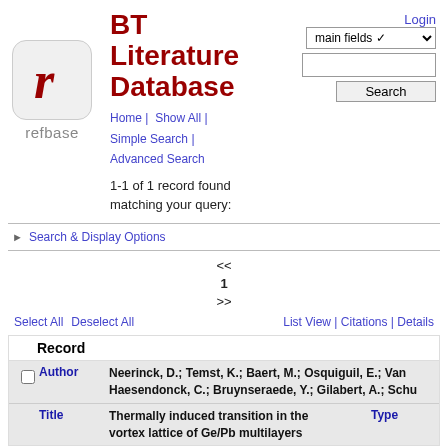BT Literature Database
Home | Show All | Simple Search | Advanced Search
Login
1-1 of 1 record found matching your query:
Search & Display Options
<< 1 >>
Select All   Deselect All   List View | Citations | Details
| Record |
| --- |
| Author | Neerinck, D.; Temst, K.; Baert, M.; Osquiguil, E.; Van Haesendonck, C.; Bruynseraede, Y.; Gilabert, A.; Schu... |
| Title | Thermally induced transition in the vortex lattice of Ge/Pb multilayers | Type |